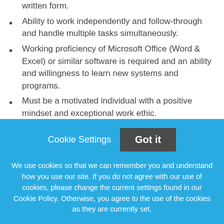written form.
Ability to work independently and follow-through and handle multiple tasks simultaneously.
Working proficiency of Microsoft Office (Word & Excel) or similar software is required and an ability and willingness to learn new systems and programs.
Must be a motivated individual with a positive mindset and exceptional work ethic.
Must successfully pass systems requirements.
Cookie Settings  Got it
We use cookies so that we can remember you and understand how you use our site. If you do not agree with our use of cookies, please change the current settings found in our Cookie Policy. Otherwise, you agree to the use of the cookies as they are currently set.